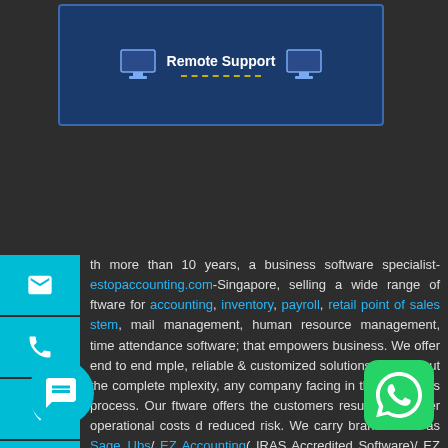[Figure (screenshot): Remote Support banner showing two monitor icons connected by a dashed line, on a dark blue background]
With more than 10 years, a business software specialist- bestopaccounting.com-Singapore, selling a wide range of software for accounting, inventory, payroll, retail point of sales system, mail management, human resource management, time attendance software; that empowers business. We offer end to end simple, reliable & customized solutions to ease out the complete complexity, any company facing in their business process. Our software offers the customers resulting in lower operational costs and reduced risk. We carry brands such as Sage_Ubs/ EZ Accounting( IRAS Accredited Software)/ EZ Payroll (Compliant With IRAS Guideline)/ MYOB / Quickbooks software, very simple to use where you can start right away operating without any Accounting, Inventory, POS, Payroll experience.